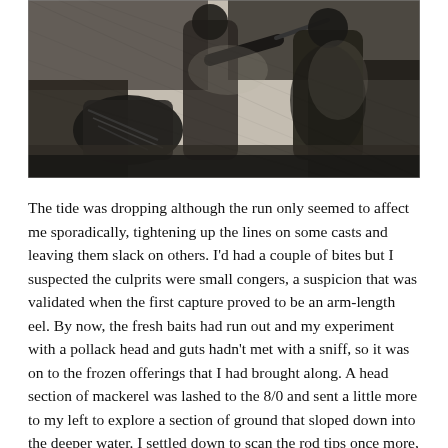[Figure (illustration): Black and white engraving/illustration showing figures in historical clothing engaged in a dramatic scene, likely depicting a battle or struggle. Dark, detailed cross-hatched style artwork.]
The tide was dropping although the run only seemed to affect me sporadically, tightening up the lines on some casts and leaving them slack on others. I'd had a couple of bites but I suspected the culprits were small congers, a suspicion that was validated when the first capture proved to be an arm-length eel. By now, the fresh baits had run out and my experiment with a pollack head and guts hadn't met with a sniff, so it was on to the frozen offerings that I had brought along. A head section of mackerel was lashed to the 8/0 and sent a little more to my left to explore a section of ground that sloped down into the deeper water. I settled down to scan the rod tips once more, gulping down a mouthful of lukewarm coffee and toying with the idea of eating the last morsel of food